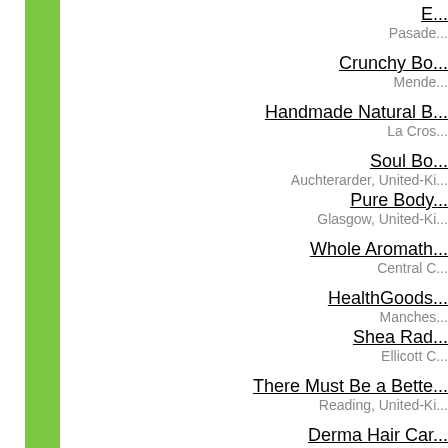E...
Pasade...
Crunchy Bo...
Mende...
Handmade Natural B...
La Cros...
Soul Bo...
Auchterarder, United-Ki...
Pure Body...
Glasgow, United-Ki...
Whole Aromath...
Central C...
HealthGoods...
Manches...
Shea Rad...
Ellicott C...
There Must Be a Bette...
Reading, United-Ki...
Derma Hair Car...
Falls Chu...
Gillian's...